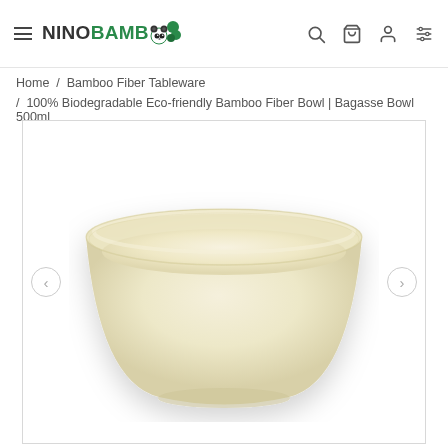NINOBAMBOO — navigation bar with hamburger menu, logo, search, cart, account, and filter icons
Home / Bamboo Fiber Tableware
/ 100% Biodegradable Eco-friendly Bamboo Fiber Bowl | Bagasse Bowl 500ml
[Figure (photo): A cream-colored bamboo fiber / bagasse bowl with a wide fluted rim, photographed on a white background. Carousel navigation arrows (< >) are visible on the left and right sides of the image container.]